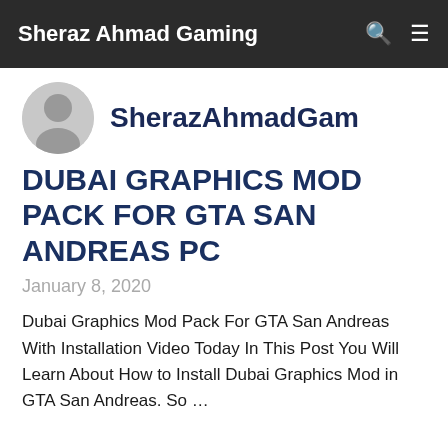Sheraz Ahmad Gaming
[Figure (illustration): Circular avatar placeholder with silhouette of a person, grey background]
SherazAhmadGam
DUBAI GRAPHICS MOD PACK FOR GTA SAN ANDREAS PC
January 8, 2020
Dubai Graphics Mod Pack For GTA San Andreas With Installation Video Today In This Post You Will Learn About How to Install Dubai Graphics Mod in GTA San Andreas. So …